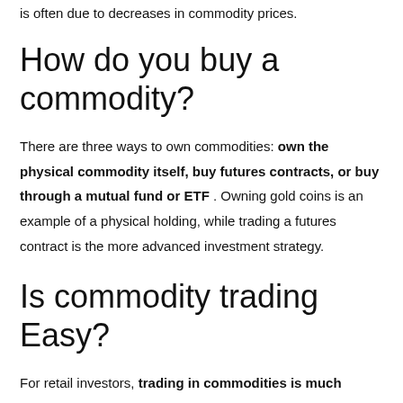is often due to decreases in commodity prices.
How do you buy a commodity?
There are three ways to own commodities: own the physical commodity itself, buy futures contracts, or buy through a mutual fund or ETF . Owning gold coins is an example of a physical holding, while trading a futures contract is the more advanced investment strategy.
Is commodity trading Easy?
For retail investors, trading in commodities is much